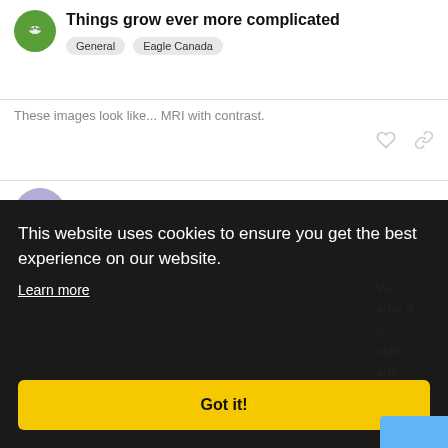Things grow ever more complicated — General, Eagle Canada
These images look like... MRI with contrast.
KoolDude — Jun 8
@Ladybug I think most of us went through a lengthy process of ruling out any other issue before getting ES...
This website uses cookies to ensure you get the best experience on our website. Learn more
Got it!